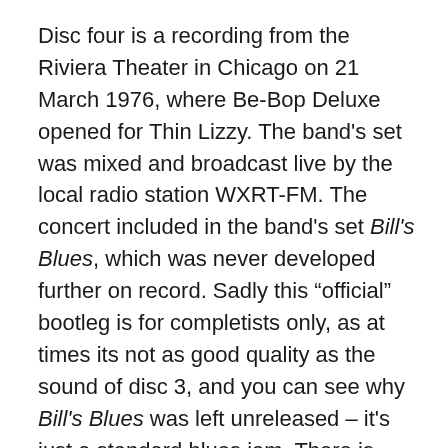Disc four is a recording from the Riviera Theater in Chicago on 21 March 1976, where Be-Bop Deluxe opened for Thin Lizzy. The band's set was mixed and broadcast live by the local radio station WXRT-FM. The concert included in the band's set Bill's Blues, which was never developed further on record. Sadly this “official” bootleg is for completists only, as at times its not as good quality as the sound of disc 3, and you can see why Bill's Blues was left unreleased – it's just a standard blues jam. There is audible distortion / clipping and hiss, so not a disc I will be returning to.
Nevertheless, this is a lovingly curated box-set, topped off with an entertaining 68 page book, that gives context to the band and the individual tracks, along with many previously unpublished images. If you are a fan of Bill